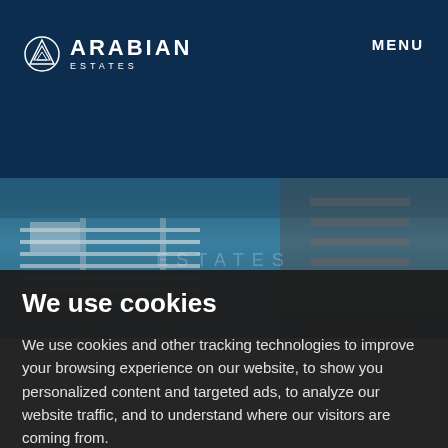[Figure (logo): Arabian Estates logo with circular geometric icon and company name]
MENU
[Figure (photo): Aerial photograph of a marina with boats docked in blue water, showing piers and roads alongside]
We use cookies
We use cookies and other tracking technologies to improve your browsing experience on our website, to show you personalized content and targeted ads, to analyze our website traffic, and to understand where our visitors are coming from.